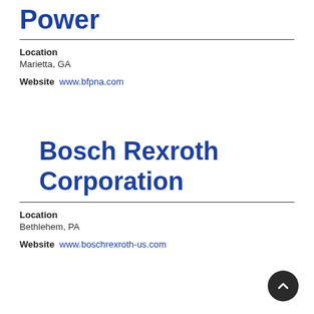Power
Location
Marietta, GA
Website  www.bfpna.com
Bosch Rexroth Corporation
Location
Bethlehem, PA
Website  www.boschrexroth-us.com